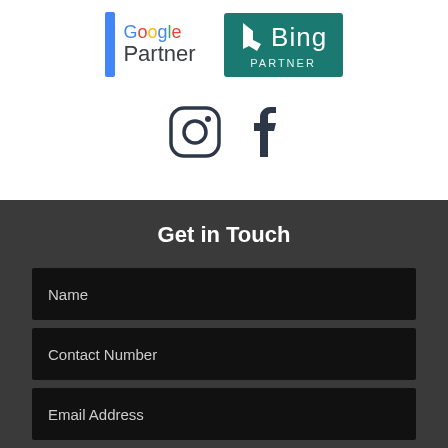[Figure (logo): Google Partner logo with blue vertical bar and Google Partner text]
[Figure (logo): Bing Partner logo with teal background, white b icon and Bing text, Partner label]
[Figure (logo): Instagram icon (camera outline)]
[Figure (logo): Facebook icon (f letter)]
Get in Touch
Name
Contact Number
Email Address